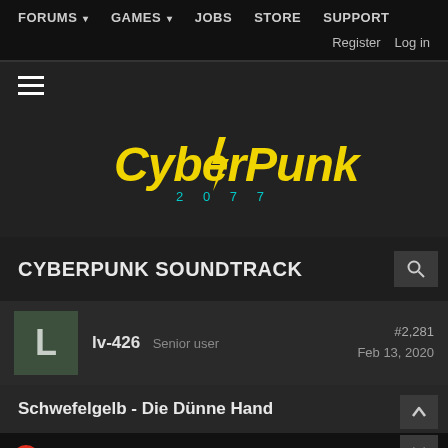FORUMS  GAMES  JOBS  STORE  SUPPORT  Register  Log in
[Figure (logo): Cyberpunk 2077 logo in yellow stylized font with green accent]
CYBERPUNK SOUNDTRACK
lv-426  Senior user  #2,281  Feb 13, 2020
Schwefelgelb - Die Dünne Hand
[Figure (screenshot): Video thumbnail, partially visible at bottom of page]